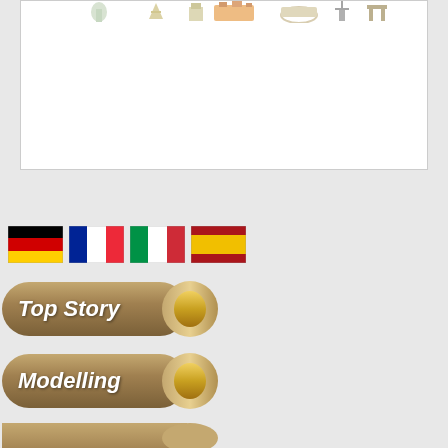[Figure (illustration): White box with illustration strip at top showing cartoon city/landmark scene]
[Figure (illustration): Four country flags in a row: Germany, France, Italy, Spain]
[Figure (infographic): Navigation button labeled 'Top Story' with tan/brown pill shape and gold oval on right]
[Figure (infographic): Navigation button labeled 'Modelling' with tan/brown pill shape and gold oval on right]
[Figure (infographic): Partial navigation button at bottom edge]